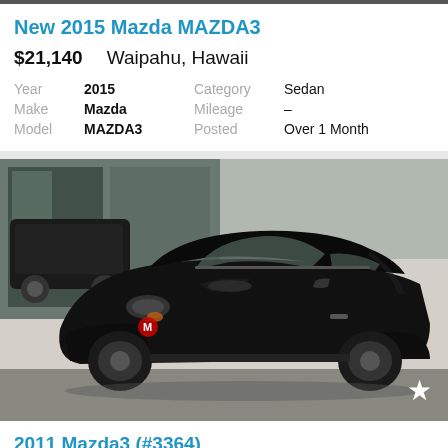New 2015 Mazda MAZDA3
$21,140    Waipahu, Hawaii
| Year | 2015 | Category | Sedan |
| Make | Mazda | Mileage | – |
| Model | MAZDA3 | Posted | Over 1 Month |
[Figure (photo): Black Mazda3 hatchback parked in front of a building, front three-quarter view with a star icon in the bottom right corner]
2011 Mazda3 (#3364)
$17,995    Waipahu, Hawaii